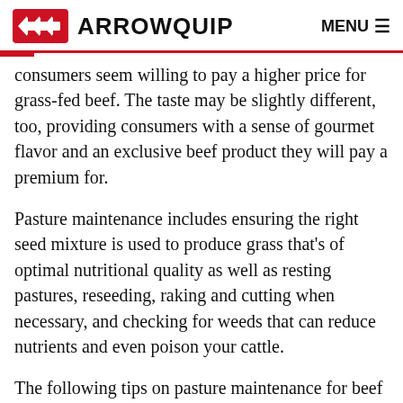ARROWQUIP  MENU
consumers seem willing to pay a higher price for grass-fed beef. The taste may be slightly different, too, providing consumers with a sense of gourmet flavor and an exclusive beef product they will pay a premium for.
Pasture maintenance includes ensuring the right seed mixture is used to produce grass that's of optimal nutritional quality as well as resting pastures, reseeding, raking and cutting when necessary, and checking for weeds that can reduce nutrients and even poison your cattle.
The following tips on pasture maintenance for beef cattle can help, but you should talk to your local agricultural agent for a complete pasture management schedule. This includes recommendation for forage grasses that thrive in your particular gardening zone,